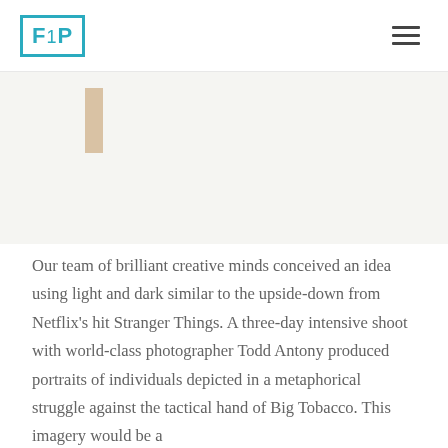F1P [logo]
[Figure (illustration): Small vertical tan/beige accent bar on light gray background]
Our team of brilliant creative minds conceived an idea using light and dark similar to the upside-down from Netflix's hit Stranger Things. A three-day intensive shoot with world-class photographer Todd Antony produced portraits of individuals depicted in a metaphorical struggle against the tactical hand of Big Tobacco. This imagery would be a